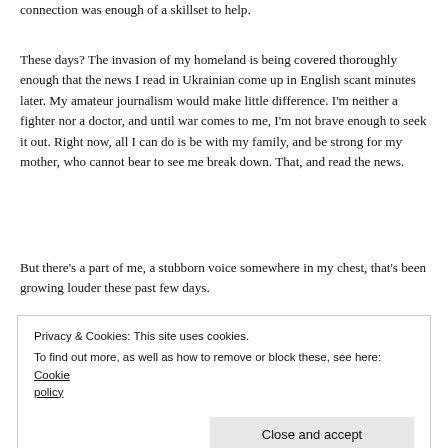connection was enough of a skillset to help.
These days? The invasion of my homeland is being covered thoroughly enough that the news I read in Ukrainian come up in English scant minutes later. My amateur journalism would make little difference. I’m neither a fighter nor a doctor, and until war comes to me, I’m not brave enough to seek it out. Right now, all I can do is be with my family, and be strong for my mother, who cannot bear to see me break down. That, and read the news.
But there’s a part of me, a stubborn voice somewhere in my chest, that’s been growing louder these past few days.
Privacy & Cookies: This site uses cookies.
To find out more, as well as how to remove or block these, see here: Cookie policy
[Close and accept]